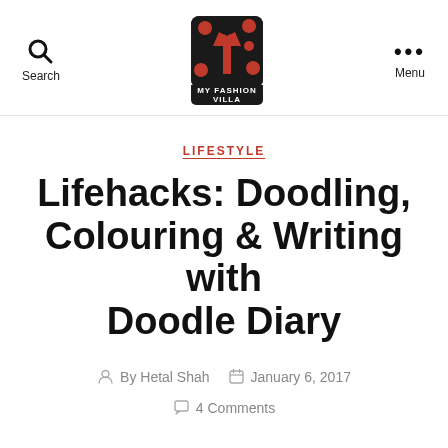Search | MY FASHION VILLA | Menu
LIFESTYLE
Lifehacks: Doodling, Colouring & Writing with Doodle Diary
By Hetal Shah  January 6, 2017  4 Comments